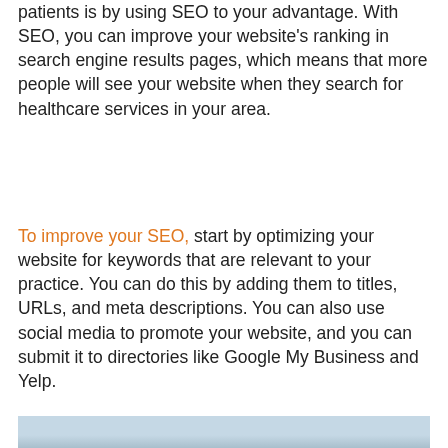patients is by using SEO to your advantage. With SEO, you can improve your website's ranking in search engine results pages, which means that more people will see your website when they search for healthcare services in your area.
To improve your SEO, start by optimizing your website for keywords that are relevant to your practice. You can do this by adding them to titles, URLs, and meta descriptions. You can also use social media to promote your website, and you can submit it to directories like Google My Business and Yelp.
[Figure (photo): Partial photo of a person, appears to be a healthcare professional, only top of head visible at bottom of page]